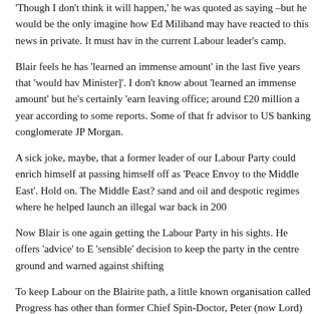'Though I don't think it will happen,' he was quoted as saying –but he would be the only imagine how Ed Miliband may have reacted to this news in private. It must hav in the current Labour leader's camp.
Blair feels he has 'learned an immense amount' in the last five years that 'would hav Minister]'. I don't know about 'learned an immense amount' but he's certainly 'earn leaving office; around £20 million a year according to some reports. Some of that fr advisor to US banking conglomerate JP Morgan.
A sick joke, maybe, that a former leader of our Labour Party could enrich himself at passing himself off as 'Peace Envoy to the Middle East'. Hold on. The Middle East? sand and oil and despotic regimes where he helped launch an illegal war back in 200
Now Blair is one again getting the Labour Party in his sights. He offers 'advice' to E 'sensible' decision to keep the party in the centre ground and warned against shifting
To keep Labour on the Blairite path, a little known organisation called Progress has other than former Chief Spin-Doctor, Peter (now Lord) Mandelson.
In the 1980s, when the battle for the Labour Party was in full swing, the Marxist Mi expelled. Chief among the accusations levelled their way was that they were 'a party